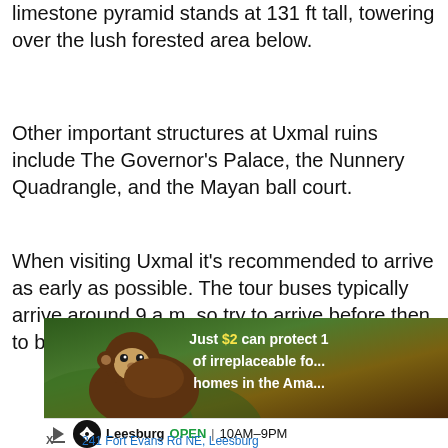limestone pyramid stands at 131 ft tall, towering over the lush forested area below.
Other important structures at Uxmal ruins include The Governor's Palace, the Nunnery Quadrangle, and the Mayan ball court.
When visiting Uxmal it's recommended to arrive as early as possible. The tour buses typically arrive around 9 a.m. so try to arrive before then to beat the crowds.
[Figure (photo): Advertisement banner showing a monkey (howler monkey) in a forest setting with text 'Just $2 can protect 1 of irreplaceable fo... homes in the Ama...' overlaid in white and yellow bold text, and a Leesburg store ad below with logo, open hours 10AM-9PM, and address 241 Fort Evans Rd NE, Leesburg]